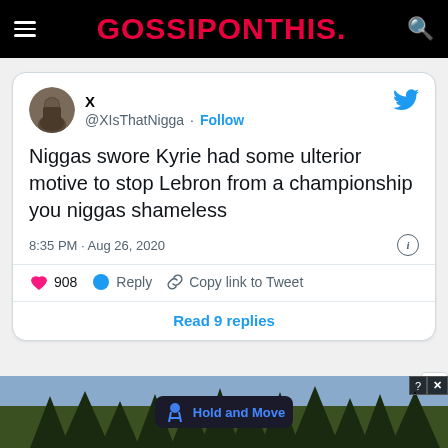GOSSIPONTHIS.
[Figure (screenshot): Embedded tweet from @XIsThatNigga: 'Niggas swore Kyrie had some ulterior motive to stop Lebron from a championship you niggas shameless' posted at 8:35 PM · Aug 26, 2020, with 908 likes, Reply, Copy link to Tweet actions, and Read 9 replies button.]
[Figure (screenshot): Advertisement banner at the bottom showing 'Hold and Move' app with trees in background, close and info controls visible.]